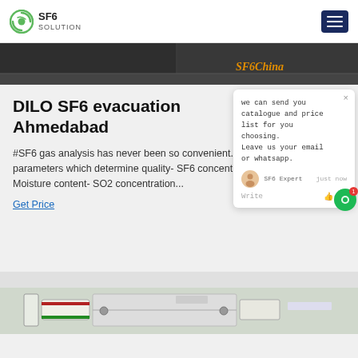SF6 SOLUTION
[Figure (photo): Dark industrial equipment photo strip with SF6China branding in orange text]
DILO SF6 evacuation Ahmedabad
#SF6 gas analysis has never been so convenient. The parameters which determine quality- SF6 concentration- Moisture content- SO2 concentration...
Get Price
[Figure (screenshot): Chat popup overlay with message: we can send you catalogue and price list for you choosing. Leave us your email or whatsapp. SF6 Expert just now. Write options.]
[Figure (photo): Bottom partial photo of industrial SF6 equipment in green/white colors]